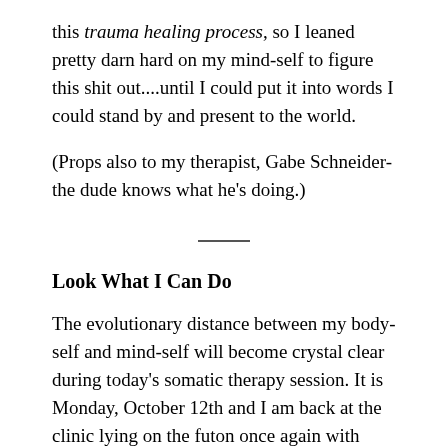this trauma healing process, so I leaned pretty darn hard on my mind-self to figure this shit out....until I could put it into words I could stand by and present to the world.
(Props also to my therapist, Gabe Schneider- the dude knows what he's doing.)
Look What I Can Do
The evolutionary distance between my body-self and mind-self will become crystal clear during today's somatic therapy session. It is Monday, October 12th and I am back at the clinic lying on the futon once again with roughly the same amount of cannabis assisting my brain as the previous week. The music I have requested for today's session is by minimal